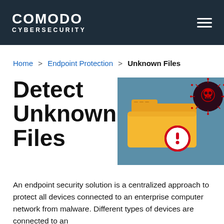COMODO CYBERSECURITY
Home > Endpoint Protection > Unknown Files
Detect Unknown Files
[Figure (illustration): Illustration of an open yellow folder with a red warning/exclamation circle badge and a dark circular malware/virus icon with skull and crossbones in the upper right corner, set against a teal/blue-gray background.]
An endpoint security solution is a centralized approach to protect all devices connected to an enterprise computer network from malware. Different types of devices are connected to an